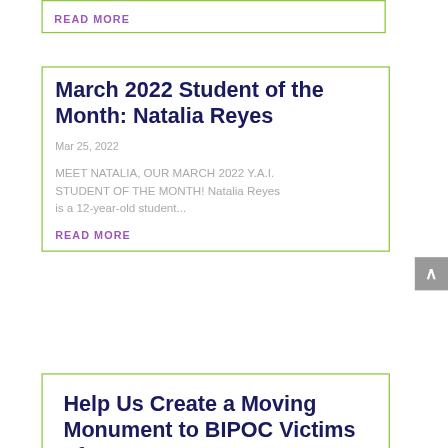READ MORE
March 2022 Student of the Month: Natalia Reyes
Mar 25, 2022
MEET NATALIA, OUR MARCH 2022 Y.A.I. STUDENT OF THE MONTH! Natalia Reyes is a 12-year-old student...
READ MORE
Help Us Create a Moving Monument to BIPOC Victims of